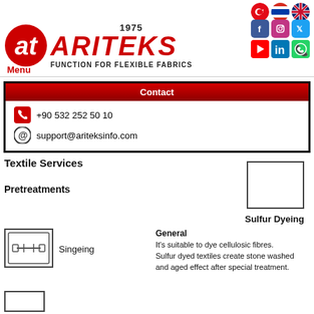[Figure (logo): Ariteks logo with red AT icon, ARITEKS in red italic bold, 1975 year, FUNCTION FOR FLEXIBLE FABRICS tagline, social media icons, flag icons]
Menu
| Contact |
| --- |
| +90 532 252 50 10 |
| support@ariteksinfo.com |
Textile Services
Pretreatments
[Figure (illustration): Sulfur Dyeing product/fabric image placeholder box]
Sulfur Dyeing
[Figure (illustration): Singeing machine diagram icon]
Singeing
General
It's suitable to dye cellulosic fibres.
Sulfur dyed textiles create stone washed and aged effect after special treatment.